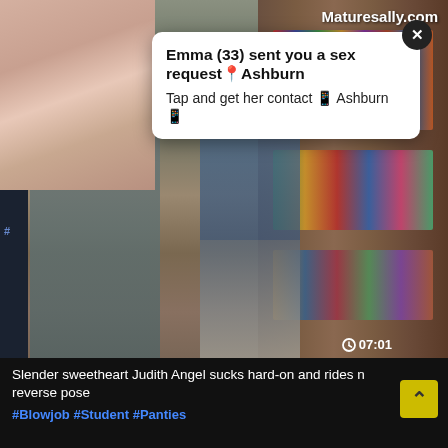[Figure (screenshot): Adult video website screenshot showing a video thumbnail of two people in a library, with a notification popup overlay and bottom video title bar]
Maturesally.com
Emma (33) sent you a sex request📍Ashburn
Tap and get her contact 📱 Ashburn 📱
07:01
Slender sweetheart Judith Angel sucks hard-on and rides n reverse pose
#Blowjob #Student #Panties